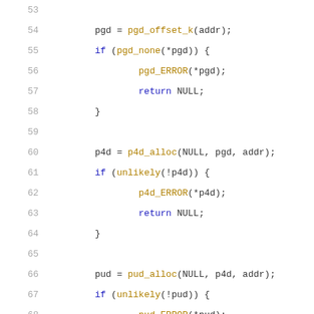Code listing lines 53–73, C source code for page table walk using pgd, p4d, pud, pmd allocations with error handling.